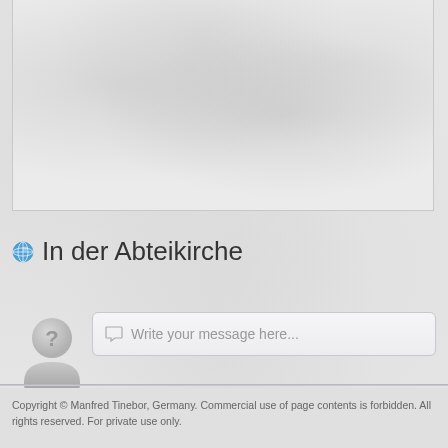[Figure (photo): Large photograph area showing textured/mottled light gray content, likely an interior or architectural photo of the abbey church]
Manfred Tinebor
In der Abteikirche
[Figure (illustration): Generic user avatar icon - gray silhouette of a person with a question mark]
Write your message here...
Copyright © Manfred Tinebor, Germany. Commercial use of page contents is forbidden. All rights reserved. For private use only.